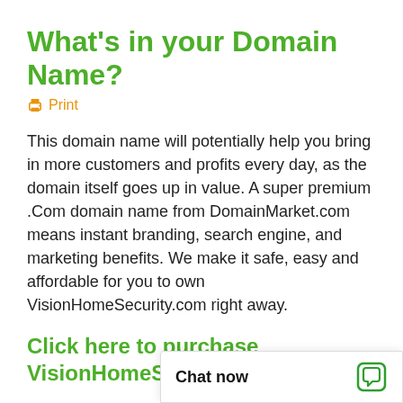What's in your Domain Name?
🖨 Print
This domain name will potentially help you bring in more customers and profits every day, as the domain itself goes up in value. A super premium .Com domain name from DomainMarket.com means instant branding, search engine, and marketing benefits. We make it safe, easy and affordable for you to own VisionHomeSecurity.com right away.
Click here to purchase VisionHomeSecurity.com
DomainMarket.com domains are carefully selected for branding excellence by our team of domain name appraisers, so y...